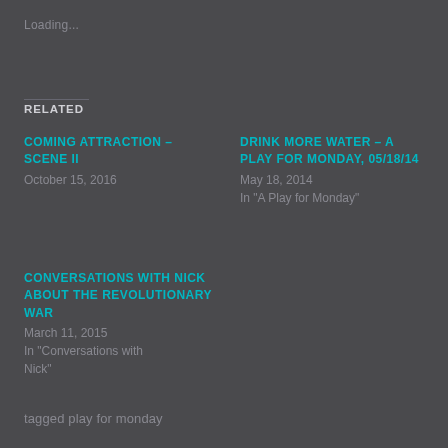Loading...
RELATED
COMING ATTRACTION – Scene II
October 15, 2016
DRINK MORE WATER – A Play for Monday, 05/18/14
May 18, 2014
In "A Play for Monday"
CONVERSATIONS WITH NICK ABOUT THE REVOLUTIONARY WAR
March 11, 2015
In "Conversations with Nick"
tagged play for monday